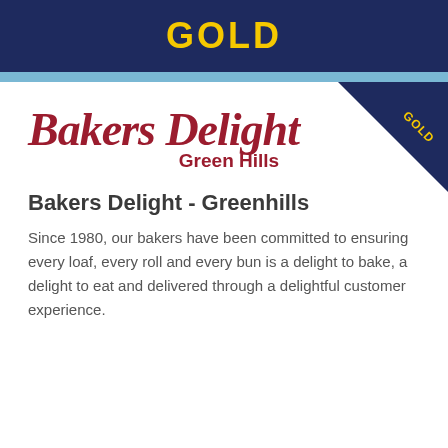GOLD
[Figure (logo): Bakers Delight Green Hills logo in cursive dark red script with 'Green Hills' subtitle]
Bakers Delight - Greenhills
Since 1980, our bakers have been committed to ensuring every loaf, every roll and every bun is a delight to bake, a delight to eat and delivered through a delightful customer experience.